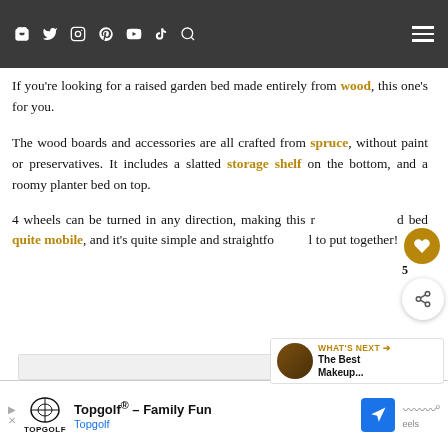Navigation header with social icons and hamburger menu
[Figure (photo): Partial photo of tiled floor with a robotic device visible at top]
If you're looking for a raised garden bed made entirely from wood, this one's for you.
The wood boards and accessories are all crafted from spruce, without paint or preservatives. It includes a slatted storage shelf on the bottom, and a roomy planter bed on top.
4 wheels can be turned in any direction, making this r[aised garden] bed quite mobile, and it's quite simple and straightfo[rward] to put together!
WHAT'S NEXT → The Best Makeup...
[Figure (infographic): Advertisement banner for Topgolf - Family Fun]